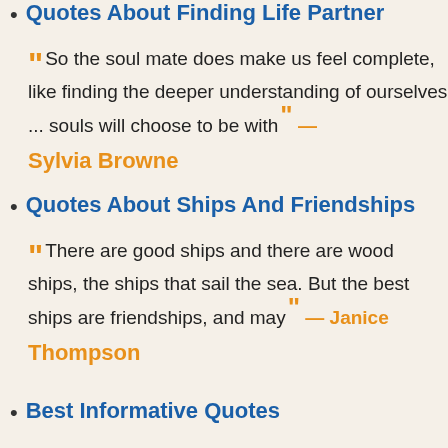Quotes About Finding Life Partner
“So the soul mate does make us feel complete, like finding the deeper understanding of ourselves ... souls will choose to be with” — Sylvia Browne
Quotes About Ships And Friendships
“There are good ships and there are wood ships, the ships that sail the sea. But the best ships are friendships, and may” — Janice Thompson
Best Informative Quotes